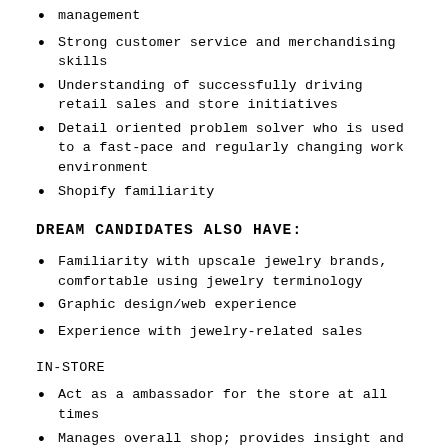management
Strong customer service and merchandising skills
Understanding of successfully driving retail sales and store initiatives
Detail oriented problem solver who is used to a fast-pace and regularly changing work environment
Shopify familiarity
DREAM CANDIDATES ALSO HAVE:
Familiarity with upscale jewelry brands, comfortable using jewelry terminology
Graphic design/web experience
Experience with jewelry-related sales
IN-STORE
Act as a ambassador for the store at all times
Manages overall shop; provides insight and guidance for team members and customers; has